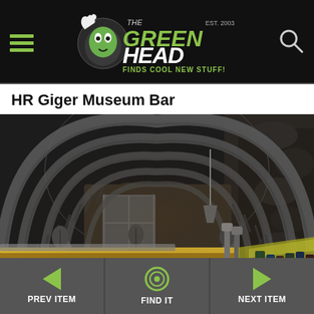The Green Head - Finds Cool New Stuff!
HR Giger Museum Bar
[Figure (photo): Interior photo of HR Giger Museum Bar showing biomechanical arched ceiling design with ribbed skeletal structures forming tunnel-like arches, stone walls, bar counter in foreground, and alien-inspired sculptural elements throughout the space.]
PREV ITEM | FIND IT | NEXT ITEM